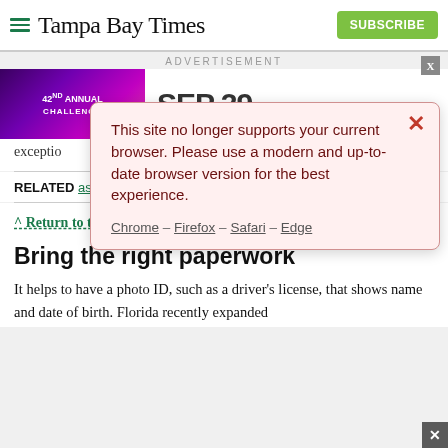Tampa Bay Times — SUBSCRIBE
[Figure (screenshot): Advertisement banner with purple background showing '42nd Annual' event text and 'SEP 29' date on the right side]
[Figure (infographic): Browser warning popup dialog with pink/red background stating: 'This site no longer supports your current browser. Please use a modern and up-to-date browser version for the best experience.' with links to Chrome, Firefox, Safari, Edge]
exceptio
RELATED asks indoors,
^ Return to top
Bring the right paperwork
It helps to have a photo ID, such as a driver's license, that shows name and date of birth. Florida recently expanded